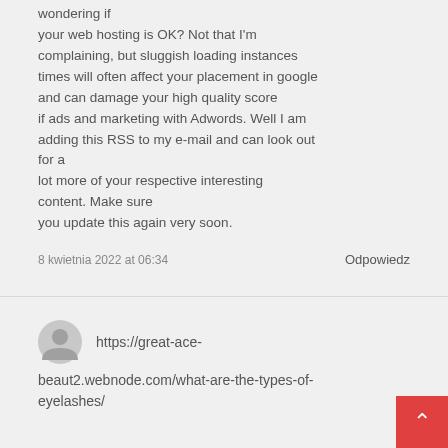wondering if your web hosting is OK? Not that I'm complaining, but sluggish loading instances times will often affect your placement in google and can damage your high quality score if ads and marketing with Adwords. Well I am adding this RSS to my e-mail and can look out for a lot more of your respective interesting content. Make sure you update this again very soon.
8 kwietnia 2022 at 06:34
Odpowiedz
https://great-ace-beaut2.webnode.com/what-are-the-types-of-eyelashes/